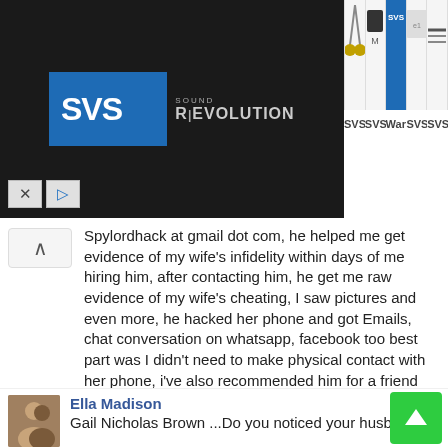[Figure (screenshot): SVS Sound Revolution advertisement banner with logo and product thumbnails (speaker cables, subwoofer, SVS branded items). Labels: SVS..., SVS..., Warr..., SVS..., SVS..., D]
Spylordhack at gmail dot com, he helped me get evidence of my wife's infidelity within days of me hiring him, after contacting him, he get me raw evidence of my wife's cheating, I saw pictures and even more, he hacked her phone and got Emails, chat conversation on whatsapp, facebook too best part was I didn't need to make physical contact with her phone, i've also recommended him for a friend and he did good . I'm sure ,spylordhack at gmail dot com does a good job, and he's quite professional.
Whatsapp or text: +1 615 274 8672
Like · Reply · Mark as spam · 2 · 1y
Ella Madison
Gail Nicholas Brown ...Do you noticed your husband/wife is getting distracted lately? Or